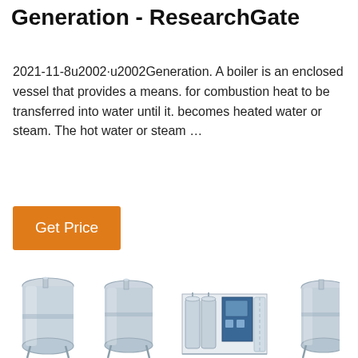Generation - ResearchGate
2021-11-8u2002·u2002Generation. A boiler is an enclosed vessel that provides a means. for combustion heat to be transferred into water until it. becomes heated water or steam. The hot water or steam …
[Figure (other): Orange 'Get Price' button]
[Figure (photo): Row of industrial stainless steel tanks and water treatment equipment shown at the bottom of the page, partially cropped]